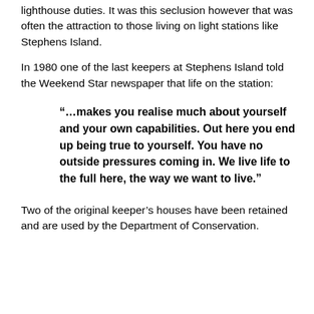lighthouse duties. It was this seclusion however that was often the attraction to those living on light stations like Stephens Island.
In 1980 one of the last keepers at Stephens Island told the Weekend Star newspaper that life on the station:
“…makes you realise much about yourself and your own capabilities. Out here you end up being true to yourself. You have no outside pressures coming in. We live life to the full here, the way we want to live.”
Two of the original keeper’s houses have been retained and are used by the Department of Conservation.